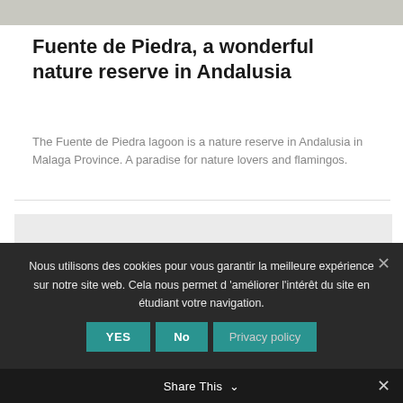[Figure (photo): Partial top of a nature/landscape photo, mostly sky/water texture in muted grey tones]
Fuente de Piedra, a wonderful nature reserve in Andalusia
The Fuente de Piedra lagoon is a nature reserve in Andalusia in Malaga Province. A paradise for nature lovers and flamingos.
[Figure (other): Light grey placeholder/advertisement box]
Nous utilisons des cookies pour vous garantir la meilleure expérience sur notre site web. Cela nous permet d'améliorer l'intérêt du site en étudiant votre navigation.
Share This